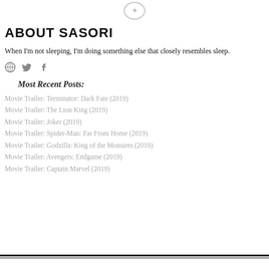[Figure (logo): Small circular logo/emblem at top center]
ABOUT SASORI
When I'm not sleeping, I'm doing something else that closely resembles sleep.
[Figure (illustration): Social media icons: globe, Twitter bird, Facebook f]
Most Recent Posts:
Movie Trailer: Terminator: Dark Fate (2019)
Movie Trailer: The Lion King (2019)
Movie Trailer: Joker (2019)
Movie Trailer: Spider-Man: Far From Home (2019)
Movie Trailer: Godzilla: King of the Monsters (2019)
Movie Trailer: Avengers: Endgame (2019)
Movie Trailer: Captain Marvel (2019)